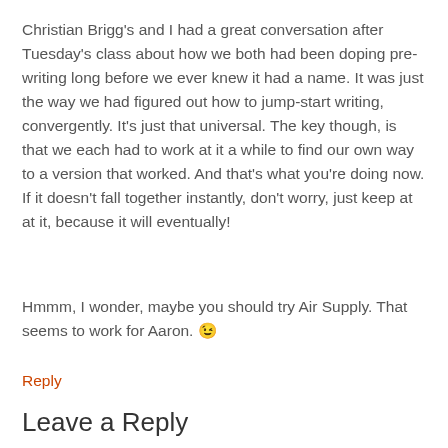Christian Brigg's and I had a great conversation after Tuesday's class about how we both had been doping pre-writing long before we ever knew it had a name. It was just the way we had figured out how to jump-start writing, convergently. It's just that universal. The key though, is that we each had to work at it a while to find our own way to a version that worked. And that's what you're doing now. If it doesn't fall together instantly, don't worry, just keep at at it, because it will eventually!
Hmmm, I wonder, maybe you should try Air Supply. That seems to work for Aaron. 😉
Reply
Leave a Reply